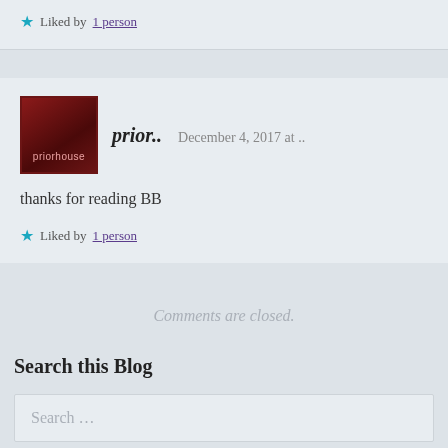Liked by 1 person
[Figure (photo): Avatar image for priorhouse blog with dark red background and white text]
prior.. December 4, 2017 at ..
thanks for reading BB
Liked by 1 person
Comments are closed.
Search this Blog
Search ...